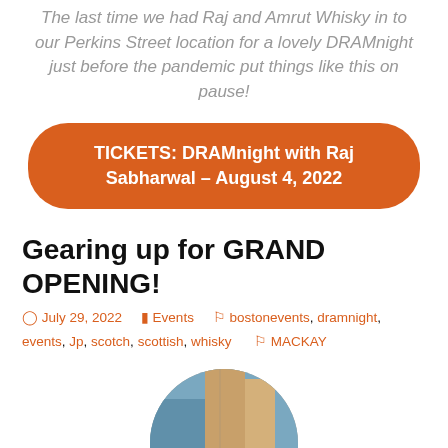The last time we had Raj and Amrut Whisky in to our Perkins Street location for a lovely DRAMnight just before the pandemic put things like this on pause!
TICKETS: DRAMnight with Raj Sabharwal – August 4, 2022
Gearing up for GRAND OPENING!
July 29, 2022   Events   bostonevents, dramnight, events, Jp, scotch, scottish, whisky   MACKAY
[Figure (photo): Partially visible circular-cropped photo at the bottom of the page showing a street scene or storefront.]